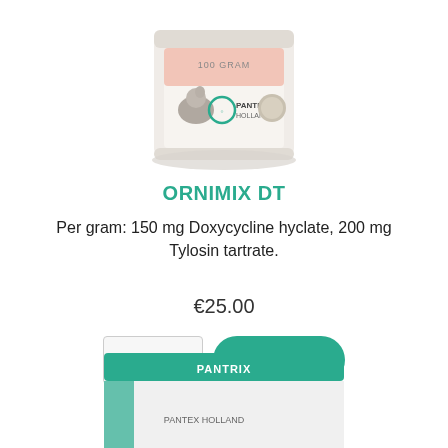[Figure (photo): Top portion of a white cylindrical product container (Pantex Holland, 100 gram) with a pigeon image and Pantex Holland branding, partially cropped at top of page.]
ORNIMIX DT
Per gram: 150 mg Doxycycline hyclate, 200 mg Tylosin tartrate.
€25.00
[Figure (screenshot): Quantity input box showing '1' and a teal rounded-rectangle 'add to cart' button with obscured text.]
[Figure (photo): Bottom portion of a second product (Pantrix) packaging, green and white box, partially cropped at bottom of page.]